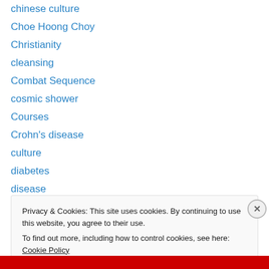chinese culture
Choe Hoong Choy
Christianity
cleansing
Combat Sequence
cosmic shower
Courses
Crohn's disease
culture
diabetes
disease
economic health
Eid al-Fitr
Privacy & Cookies: This site uses cookies. By continuing to use this website, you agree to their use.
To find out more, including how to control cookies, see here: Cookie Policy
Close and accept